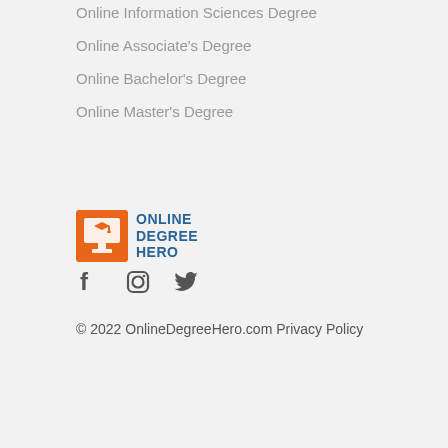Online Information Sciences Degree
Online Associate's Degree
Online Bachelor's Degree
Online Master's Degree
[Figure (logo): Online Degree Hero logo with orange monitor/graduation cap icon and blue text reading ONLINE DEGREE HERO]
[Figure (infographic): Social media icons: Facebook, Instagram, Twitter]
© 2022 OnlineDegreeHero.com Privacy Policy